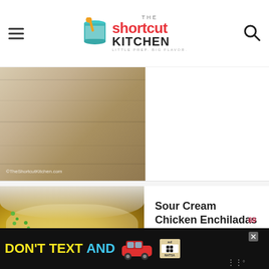The Shortcut Kitchen - Little Prep. Big Flavor.
[Figure (photo): Partial food photo with watermark ©TheShortcutKitchen.com on wooden surface background]
[Figure (photo): Sour Cream Chicken Enchiladas photo showing enchiladas topped with cream sauce and green onions on a white plate]
Sour Cream Chicken Enchiladas
[Figure (infographic): Advertisement banner: DON'T TEXT AND [drive] with car graphic, ad badge, and NHTSA logo]